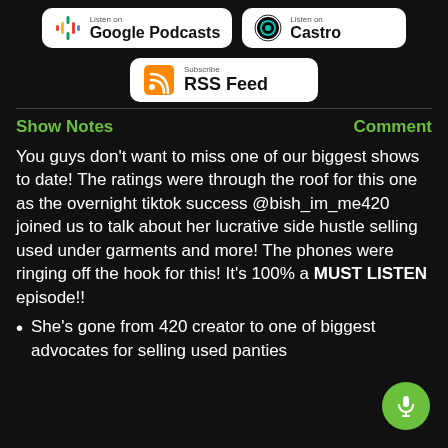[Figure (screenshot): Two podcast platform buttons: Google Podcasts and Castro, side by side]
[Figure (screenshot): RSS Feed subscribe button centered below the podcast buttons]
Show Notes
Comment
You guys don't want to miss one of our biggest shows to date! The ratings were through the roof for this one as the overnight tiktok success @bish_im_me420 joined us to talk about her lucrative side hustle selling used under garments and more! The phones were ringing off the hook for this! It's 100% a MUST LISTEN episode!!
She's gone from 420 creator to one of biggest advocates for selling used panties